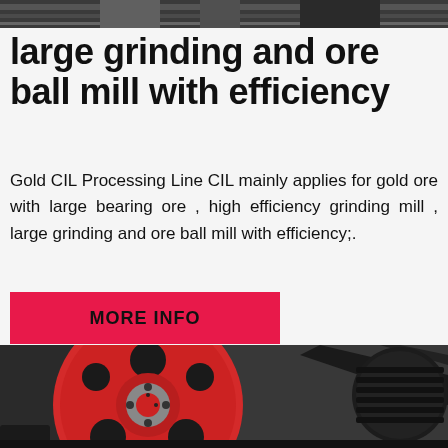[Figure (photo): Top strip showing a dark industrial machine/conveyor belt background image]
large grinding and ore ball mill with efficiency
Gold CIL Processing Line CIL mainly applies for gold ore with large bearing ore , high efficiency grinding mill , large grinding and ore ball mill with efficiency;.
[Figure (other): Red button/banner with text MORE INFO on pink/red background]
[Figure (photo): Close-up photo of a large red industrial pulley/wheel with black belt drive system of a ball mill grinder]